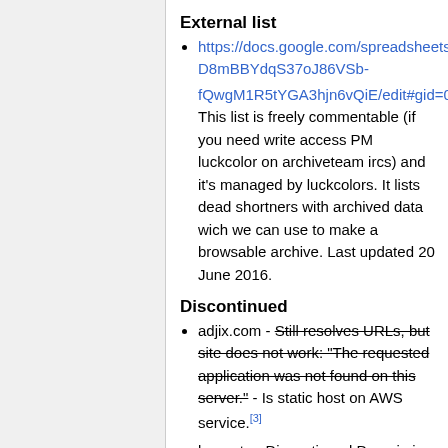External list
https://docs.google.com/spreadsheets/d/1LD-D8mBBYdqS37oJ86VSb-fQwgM1R5tYGA3hjn6vQiE/edit#gid=0 This list is freely commentable (if you need write access PM luckcolor on archiveteam ircs) and it's managed by luckcolors. It lists dead shortners with archived data wich we can use to make a browsable archive. Last updated 20 June 2016.
Discontinued
adjix.com - Still resolves URLs, but site does not work: "The requested application was not found on this server." - Is static host on AWS service.[3]
beam.to - Discontinued Domain is for sale.